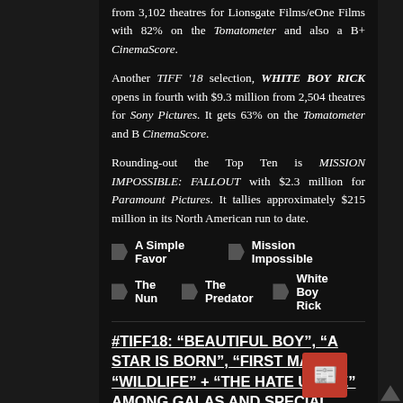from 3,102 theatres for Lionsgate Films/eOne Films with 82% on the Tomatometer and also a B+ CinemaScore.
Another TIFF '18 selection, WHITE BOY RICK opens in fourth with $9.3 million from 2,504 theatres for Sony Pictures. It gets 63% on the Tomatometer and B CinemaScore.
Rounding-out the Top Ten is MISSION IMPOSSIBLE: FALLOUT with $2.3 million for Paramount Pictures. It tallies approximately $215 million in its North American run to date.
A Simple Favor
Mission Impossible
The Nun
The Predator
White Boy Rick
#TIFF18: “BEAUTIFUL BOY”, “A STAR IS BORN”, “FIRST MAN”, “WILDLIFE” + “THE HATE U GIVE” AMONG GALAS AND SPECIAL PRESENTATIONS ANNOUNCED
admin   No Comments